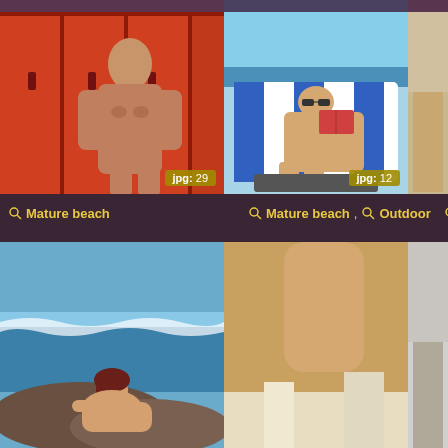[Figure (photo): Bald muscular man standing in front of red lockers, shirtless, badge showing jpg: 29]
[Figure (photo): Woman reclining in blue and white beach chair at beach reading, sunglasses, badge showing jpg: 12]
[Figure (photo): Partial view of person at beach/outdoor setting]
Mature beach
Mature beach , Outdoor
Mat...
[Figure (photo): Woman with red/brown hair at beach with waves]
[Figure (photo): Close-up torso/body outdoor shot]
[Figure (photo): Partial view of person in white clothing]